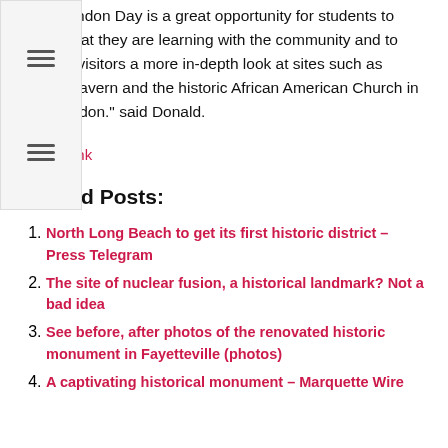"New London Day is a great opportunity for students to share what they are learning with the community and to give our visitors a more in-depth look at sites such as Mead's Tavern and the historic African American Church in New London." said Donald.
Source link
Related Posts:
North Long Beach to get its first historic district – Press Telegram
The site of nuclear fusion, a historical landmark? Not a bad idea
See before, after photos of the renovated historic monument in Fayetteville (photos)
A captivating historical monument – Marquette Wire